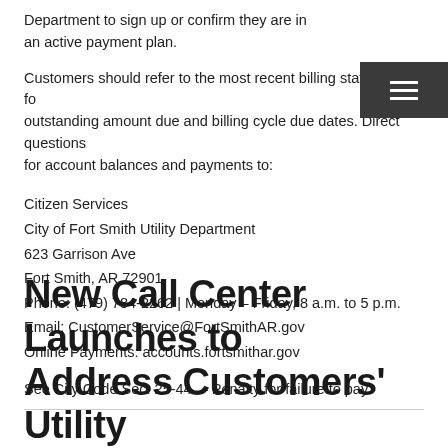Department to sign up or confirm they are in an active payment plan.
Customers should refer to the most recent billing statement for outstanding amount due and billing cycle due dates. Direct questions for account balances and payments to:
Citizen Services
City of Fort Smith Utility Department
623 Garrison Ave
Fort Smith, AR 72901
Phone: (479) 784-2262 | Monday – Friday, 8 a.m. to 5 p.m.
Email: CustomerService@FortSmithAR.gov
Online Payments: accounts.fortsmithar.gov
See City Code Sec. 25-44. – Penalty for failure to pay
New Call Center Launches to Address Customers' Utility